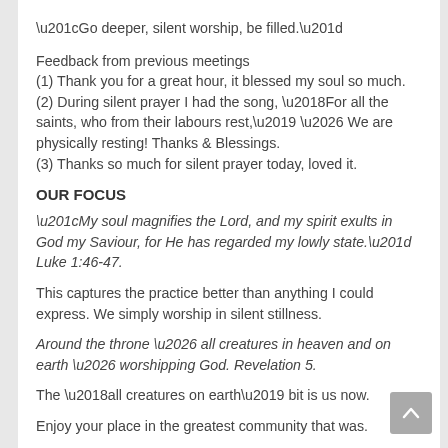“Go deeper, silent worship, be filled.”
Feedback from previous meetings
(1) Thank you for a great hour, it blessed my soul so much.
(2) During silent prayer I had the song, ‘For all the saints, who from their labours rest,’ … We are physically resting! Thanks & Blessings.
(3) Thanks so much for silent prayer today, loved it.
OUR FOCUS
“My soul magnifies the Lord, and my spirit exults in God my Saviour, for He has regarded my lowly state.” Luke 1:46-47.
This captures the practice better than anything I could express. We simply worship in silent stillness.
Around the throne … all creatures in heaven and on earth … worshipping God. Revelation 5.
The ‘all creatures on earth’ bit is us now.
Enjoy your place in the greatest community that was.